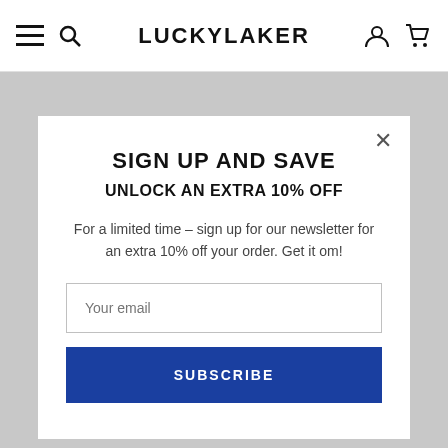LUCKYLAKER
SIGN UP AND SAVE
UNLOCK AN EXTRA 10% OFF
For a limited time – sign up for our newsletter for an extra 10% off your order. Get it om!
Your email
SUBSCRIBE
[Figure (infographic): Envelope/mail icon above CUSTOMER SERVICE label]
CUSTOMER SERVICE